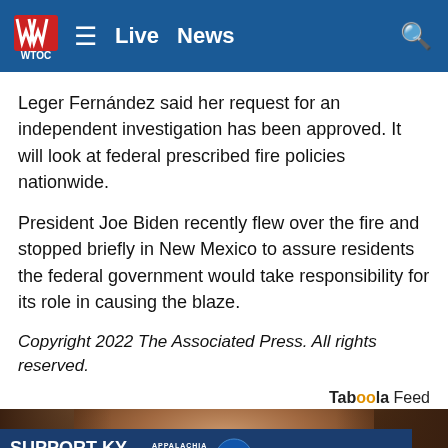WTOC — Live News
Leger Fernández said her request for an independent investigation has been approved. It will look at federal prescribed fire policies nationwide.
President Joe Biden recently flew over the fire and stopped briefly in New Mexico to assure residents the federal government would take responsibility for its role in causing the blaze.
Copyright 2022 The Associated Press. All rights reserved.
Taboola Feed
[Figure (photo): Close-up photo of a person's face/forehead, partially visible, warm brown tones]
[Figure (infographic): Advertisement banner: SUPPORT KY FLOOD RELIEF with Appalachia Rises logo and gray network logo]